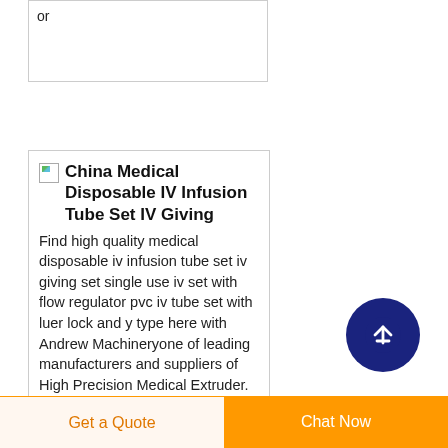or
[Figure (screenshot): Product card with broken image icon and bold title: China Medical Disposable IV Infusion Tube Set IV Giving, with descriptive text below]
China Medical Disposable IV Infusion Tube Set IV Giving
Find high quality medical disposable iv infusion tube set iv giving set single use iv set with flow regulator pvc iv tube set with luer lock and y type here with Andrew Machineryone of leading manufacturers and suppliers of High Precision Medical Extruder. All products are made in China and with
[Figure (other): Dark blue circular scroll-to-top button with upward arrow icon]
Get a Quote   Chat Now